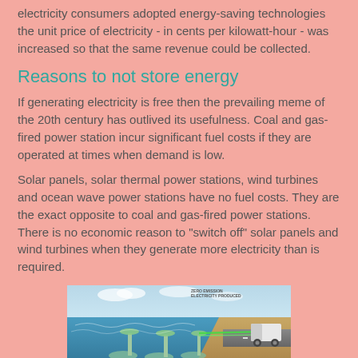electricity consumers adopted energy-saving technologies the unit price of electricity - in cents per kilowatt-hour - was increased so that the same revenue could be collected.
Reasons to not store energy
If generating electricity is free then the prevailing meme of the 20th century has outlived its usefulness. Coal and gas-fired power station incur significant fuel costs if they are operated at times when demand is low.
Solar panels, solar thermal power stations, wind turbines and ocean wave power stations have no fuel costs. They are the exact opposite to coal and gas-fired power stations. There is no economic reason to "switch off" solar panels and wind turbines when they generate more electricity than is required.
[Figure (illustration): Illustration of ocean wave power stations with labels showing 'CERO TECHNOLOGY', 'OFF THE SHELF TECHNOLOGY', 'ZERO EMISSION ELECTRICITY PRODUCED', and a coastal/underwater scene with wave energy devices.]